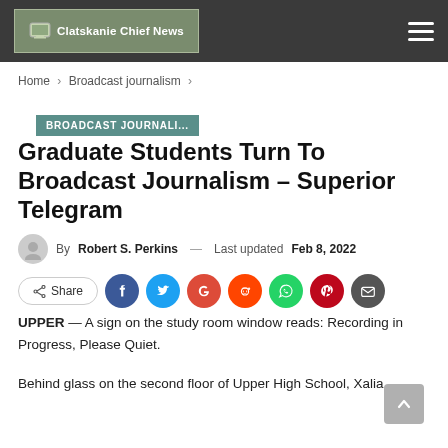Clatskanie Chief News
Home > Broadcast journalism >
BROADCAST JOURNALI...
Graduate Students Turn To Broadcast Journalism – Superior Telegram
By Robert S. Perkins — Last updated Feb 8, 2022
[Figure (other): Social share bar with Share button and icons for Facebook, Twitter, Google, Reddit, WhatsApp, Pinterest, Email]
UPPER — A sign on the study room window reads: Recording in Progress, Please Quiet.
Behind glass on the second floor of Upper High School, Xalia